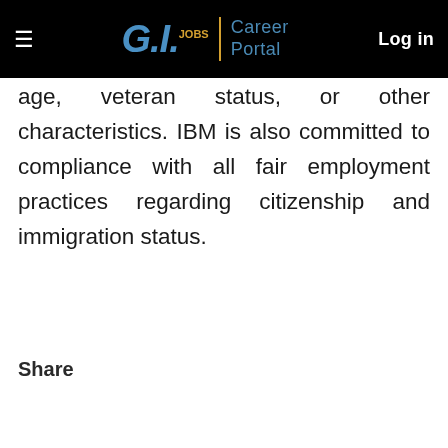G.I. JOBS | Career Portal — Log in
age, veteran status, or other characteristics. IBM is also committed to compliance with all fair employment practices regarding citizenship and immigration status.
Share